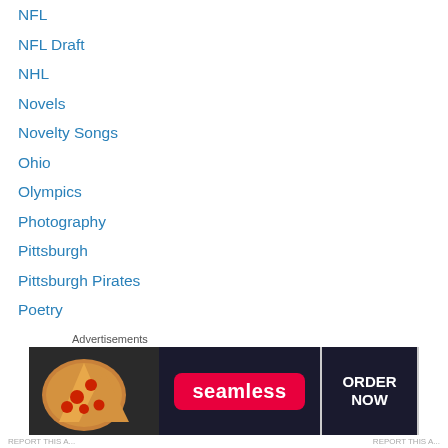NFL
NFL Draft
NHL
Novels
Novelty Songs
Ohio
Olympics
Photography
Pittsburgh
Pittsburgh Pirates
Poetry
Politics
Pop Culture
Pop Music
Premier League
Presidential Campaigns
[Figure (infographic): Seamless food delivery advertisement banner showing pizza slices on the left, Seamless red logo badge in center, and ORDER NOW button on the right with dark background.]